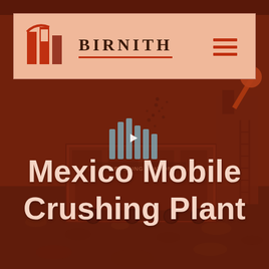[Figure (photo): Background industrial photo of a mobile crushing plant/station with equipment, conveyor belts, machinery and aggregate/rocks, tinted with a reddish-brown overlay]
BIRNITH
Mexico Mobile Crushing Plant